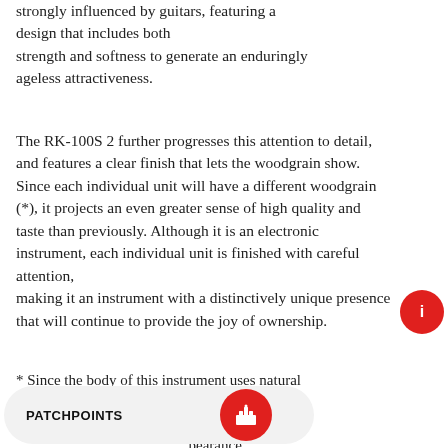strongly influenced by guitars, featuring a design that includes both strength and softness to generate an enduringly ageless attractiveness.
The RK-100S 2 further progresses this attention to detail, and features a clear finish that lets the woodgrain show.
Since each individual unit will have a different woodgrain (*), it projects an even greater sense of high quality and taste than previously. Although it is an electronic instrument, each individual unit is finished with careful attention,
making it an instrument with a distinctively unique presence that will continue to provide the joy of ownership.
* Since the body of this instrument uses natural wood, please be aware that there will be in pearance.